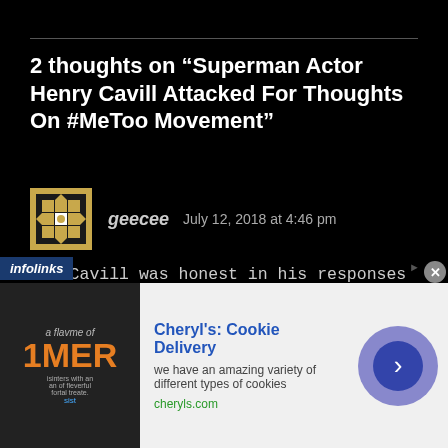2 thoughts on “Superman Actor Henry Cavill Attacked For Thoughts On #MeToo Movement”
geecee   July 12, 2018 at 4:46 pm
Mr. Cavill was honest in his responses regarding #MeToo and his personal experiences. He has no need to explain himself further – and he certainly should not be required to justify his comments. He sounds like a respectful person to everyone. I fall into the category of managers who will never
[Figure (other): Avatar image for commenter geecee, a geometric pattern in gold and white]
infolinks
[Figure (other): Advertisement for Cheryl's Cookie Delivery with image of cookies, text: we have an amazing variety of different types of cookies, cheryls.com]